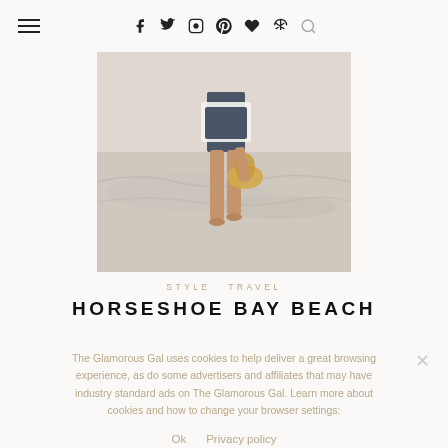≡  f  t  instagram  pinterest  ♥  rss  🔍
[Figure (photo): Person standing barefoot on a sandy beach, wearing denim shorts and a white shirt knotted at the waist, holding a straw hat. Water and waves visible in background.]
STYLE  TRAVEL
HORSESHOE BAY BEACH
The Glamorous Gal uses cookies to help deliver a great browsing experience, as do some advertisers and affiliates that may have industry standard ads on The Glamorous Gal. Learn more about cookies and how to change your browser settings:
Ok   Privacy policy